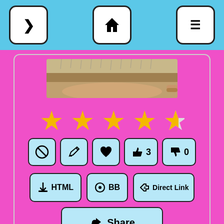[Figure (screenshot): Top navigation bar with sky blue background, containing three buttons: a right arrow (>), a home icon, and a hamburger menu icon]
[Figure (photo): Partial photo of a hedgehog being held, showing spines and a hand]
[Figure (infographic): 4.5 star rating displayed as yellow stars on pink background]
[Figure (screenshot): Action icon buttons: block, edit, heart/favorite, thumbs up with count 3, thumbs down with count 0]
[Figure (screenshot): Three link buttons: HTML, BB, Direct Link; and a Share button below]
[Figure (screenshot): Robinhood advertisement card: logo, name 'robinhood', tagline 'Join today and get a free stock!', and cursor icon]